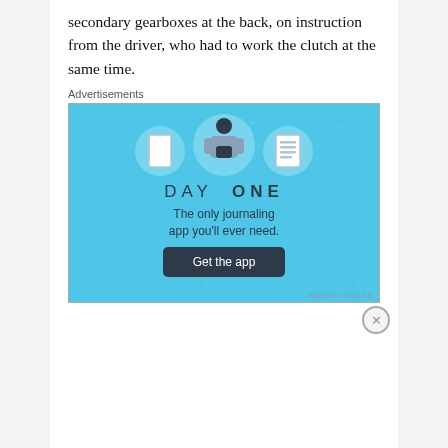secondary gearboxes at the back, on instruction from the driver, who had to work the clutch at the same time.
Advertisements
[Figure (illustration): Day One journaling app advertisement. Blue background with icons of a notebook, a person holding a phone, and a checklist. Text reads: DAY ONE — The only journaling app you'll ever need. Get the app button.]
Advertisements
[Figure (illustration): Longreads advertisement on red background with logo and tagline: The best stories on the web — ours, and everyone else's.]